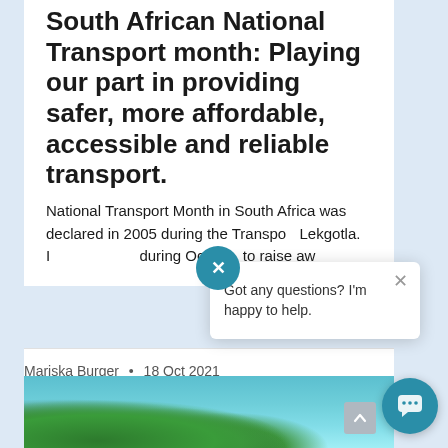South African National Transport month: Playing our part in providing safer, more affordable, accessible and reliable transport.
National Transport Month in South Africa was declared in 2005 during the Transport Lekgotla. It is observed during Oct[ober] to raise aw[areness]...
Mariska Burger • 18 Oct 2021
[Figure (photo): Scenic photo of a mountainous landscape with trees and blue sky, partially visible at bottom of page]